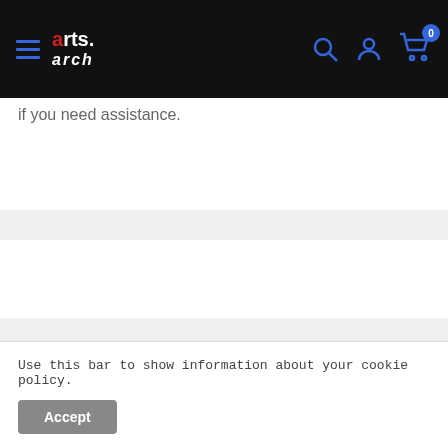arts.arch — navigation bar with hamburger menu, logo, search, account, and cart (0 items)
if you need assistance.
Payment & Security
[Figure (logo): PayPal logo button]
Your payment information is processed securely. We do not
Use this bar to show information about your cookie policy.
Accept